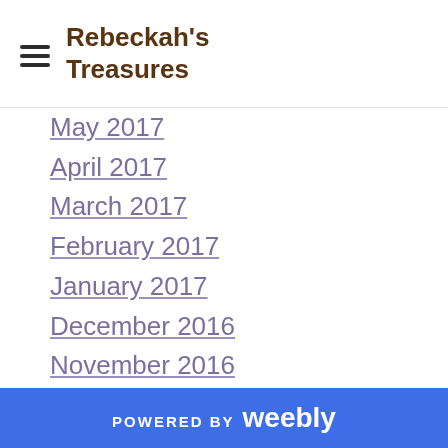Rebeckah's Treasures
May 2017
April 2017
March 2017
February 2017
January 2017
December 2016
November 2016
October 2016
September 2016
August 2016
July 2016
June 2016
May 2016
POWERED BY weebly